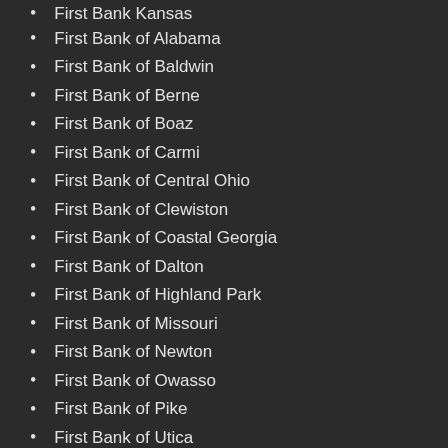First Bank Kansas
First Bank of Alabama
First Bank of Baldwin
First Bank of Berne
First Bank of Boaz
First Bank of Carmi
First Bank of Central Ohio
First Bank of Clewiston
First Bank of Coastal Georgia
First Bank of Dalton
First Bank of Highland Park
First Bank of Missouri
First Bank of Newton
First Bank of Owasso
First Bank of Pike
First Bank of Utica
First Bank Richmond